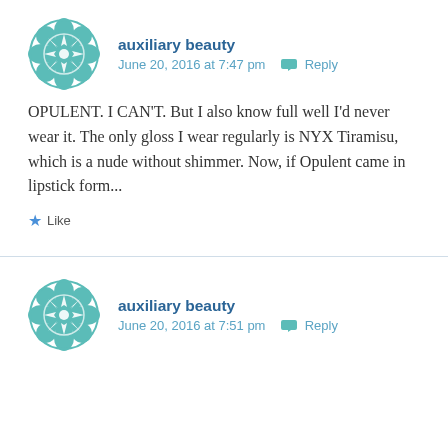[Figure (illustration): Teal geometric mandala/flower avatar icon for auxiliary beauty user]
auxiliary beauty
June 20, 2016 at 7:47 pm  Reply
OPULENT. I CAN'T. But I also know full well I'd never wear it. The only gloss I wear regularly is NYX Tiramisu, which is a nude without shimmer. Now, if Opulent came in lipstick form...
★ Like
[Figure (illustration): Teal geometric mandala/flower avatar icon for auxiliary beauty user]
auxiliary beauty
June 20, 2016 at 7:51 pm  Reply